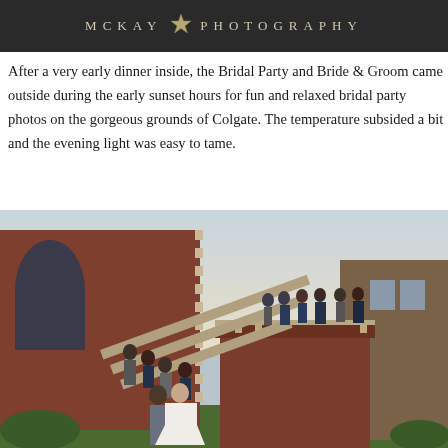MCKAY PHOTOGRAPHY
After a very early dinner inside, the Bridal Party and Bride & Groom came outside during the early sunset hours for fun and relaxed bridal party photos on the gorgeous grounds of Colgate. The temperature subsided a bit and the evening light was easy to tame.
[Figure (photo): Wedding party photo on the exterior stone staircase and turret of a Gothic brick building at Colgate University. The bride and groom stand at the front bottom, with bridesmaids in navy dresses and groomsmen in grey suits arranged on the curved staircase and along the top parapet. The building features Gothic arched windows and brick with limestone quoins.]